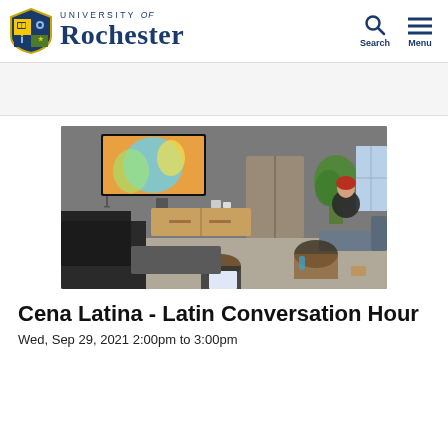University of Rochester
[Figure (photo): Group of students sitting in a lounge room watching a TV screen showing a colorful presentation; a person with red hair sits cross-legged on a chair on the right side of the room; there are couches and a wooden credenza visible.]
Cena Latina - Latin Conversation Hour
Wed, Sep 29, 2021 2:00pm to 3:00pm